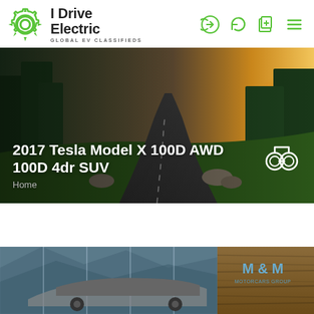[Figure (logo): I Drive Electric gear/cogwheel logo in green]
I Drive Electric
GLOBAL EV CLASSIFIEDS
[Figure (infographic): Navigation icons: login, refresh, add listing, menu hamburger — all in green]
[Figure (photo): Hero banner: winding road through forest at sunset with golden light]
2017 Tesla Model X 100D AWD 100D 4dr SUV
Home
[Figure (illustration): Binoculars icon in white outline on hero image]
[Figure (photo): Bottom partial image: car dealership showroom with M & M branding on wood wall, Tesla Model X partially visible]